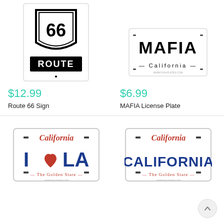[Figure (illustration): Route 66 Sign - black and white road sign with Route 66 shield and ROUTE text on black background]
[Figure (illustration): MAFIA License Plate - white California license plate with MAFIA text in large bold letters]
$12.99
Route 66 Sign
$6.99
MAFIA License Plate
[Figure (illustration): I Love LA California license plate - white plate with California script, I heart LA text in blue and red, The Golden State]
[Figure (illustration): CALIFORNIA license plate - white plate with California script, CALIFORNIA in large blue letters, The Golden State]